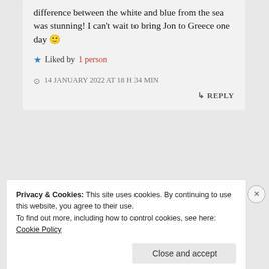difference between the white and blue from the sea was stunning! I can't wait to bring Jon to Greece one day 🙂
★ Liked by 1 person
🕐 14 JANUARY 2022 AT 18 H 34 MIN
↳ REPLY
Privacy & Cookies: This site uses cookies. By continuing to use this website, you agree to their use.
To find out more, including how to control cookies, see here: Cookie Policy
Close and accept